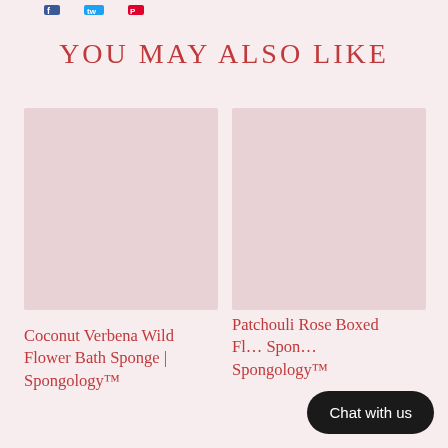[Figure (other): Social media share icons: Facebook, Twitter, Pinterest at top of page]
YOU MAY ALSO LIKE
[Figure (photo): Product image placeholder for Coconut Verbena Wild Flower Bath Sponge — light pink/mauve solid color rectangle]
Coconut Verbena Wild Flower Bath Sponge | Spongology™
[Figure (photo): Product image placeholder for Patchouli Rose Boxed Flower Sponge — light pink/mauve solid color rectangle]
Patchouli Rose Boxed Fl… Spon… Spongology™
Chat with us